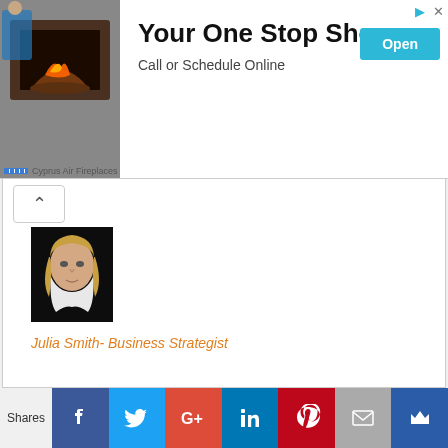[Figure (screenshot): Advertisement banner for Cyprus Air Fireplaces with headline 'Your One Stop Shop', subtext 'Call or Schedule Online', and an Open button. Shows a photo of a fireplace technician on the left.]
[Figure (photo): Profile photo of Julia Smith - a woman with blonde hair wearing a white top against a dark background]
Julia Smith- Business Strategist
Mark Benson- Technical Diarist
[Figure (infographic): Social share bar with icons for Facebook, Twitter, Google+, LinkedIn, Pinterest, Email, and a crown icon. Left label reads 'Shares'.]